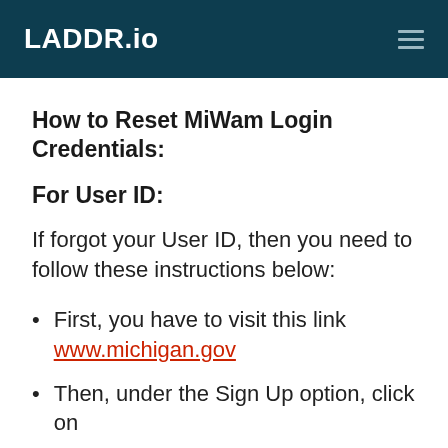LADDR.io
How to Reset MiWam Login Credentials:
For User ID:
If forgot your User ID, then you need to follow these instructions below:
First, you have to visit this link www.michigan.gov
Then, under the Sign Up option, click on